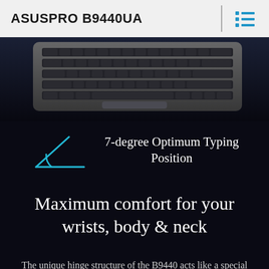ASUSPRO B9440UA
[Figure (photo): Top-down view of ASUSPRO B9440UA laptop keyboard on dark background, showing keyboard and touchpad area]
[Figure (infographic): Cyan/teal angle icon showing 7-degree angle with text '7-degree Optimum Typing Position']
Maximum comfort for your wrists, body & neck
The unique hinge structure of the B9440 acts like a special support allowing the keyboard to be tilted at a 7-degree angle to provide the most comfortable